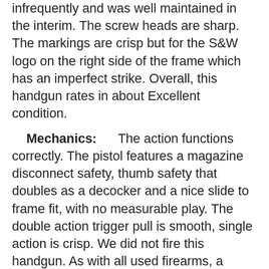infrequently and was well maintained in the interim. The screw heads are sharp. The markings are crisp but for the S&W logo on the right side of the frame which has an imperfect strike. Overall, this handgun rates in about Excellent condition.
Mechanics: The action functions correctly. The pistol features a magazine disconnect safety, thumb safety that doubles as a decocker and a nice slide to frame fit, with no measurable play. The double action trigger pull is smooth, single action is crisp. We did not fire this handgun. As with all used firearms, a thorough cleaning may be necessary to meet your maintenance standards.
Box, Paperwork & Accessories: Included is a factory 8 round magazine that shows a few minor wear marks and some casting flaws, rating in Excellent condition with a strong spring and unmarred feed lips.